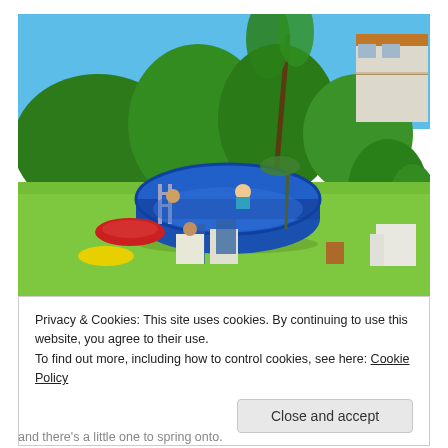[Figure (photo): Outdoor backyard scene on a sunny day. A large round above-ground blue pool is in the center, with people nearby. Green lawn surrounds the pool area. A red kiddie pool and yellow float toy are on the grass to the left. White plastic chairs are on the right. Dense green trees and shrubs fill the background. A house with a balcony is visible in the upper right corner. Clear blue sky above.]
Privacy & Cookies: This site uses cookies. By continuing to use this website, you agree to their use.
To find out more, including how to control cookies, see here: Cookie Policy
Close and accept
and there's a little one to spring onto.